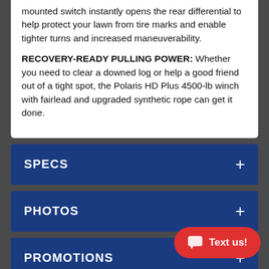mounted switch instantly opens the rear differential to help protect your lawn from tire marks and enable tighter turns and increased maneuverability.
RECOVERY-READY PULLING POWER: Whether you need to clear a downed log or help a good friend out of a tight spot, the Polaris HD Plus 4500-lb winch with fairlead and upgraded synthetic rope can get it done.
SPECS
PHOTOS
PROMOTIONS
Warning: Polaris off-road vehicles can be hazardous to operate and are not intended for on-road use. Driver must be at least 16 years old wi driver's license to operate. Passenger must be at least 12 years old. All riders should always wear helmets, eye protection and protective